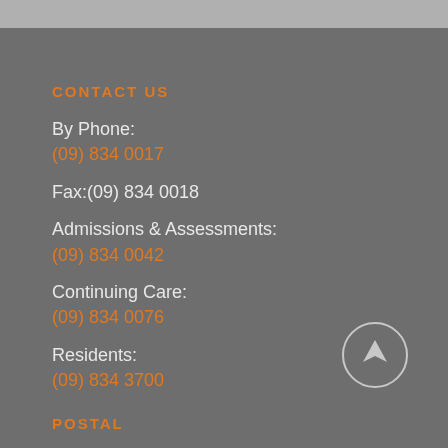CONTACT US
By Phone:
(09) 834 0017
Fax:(09) 834 0018
Admissions & Assessments:
(09) 834 0042
Continuing Care:
(09) 834 0076
Residents:
(09) 834 3700
POSTAL
Higher Ground